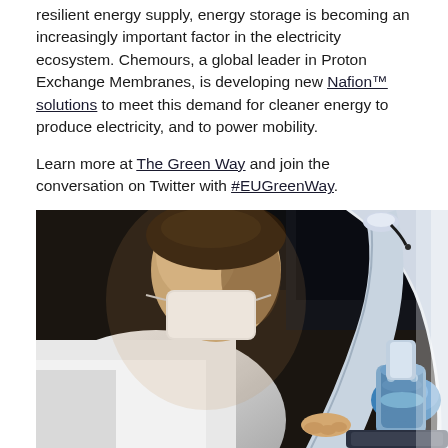resilient energy supply, energy storage is becoming an increasingly important factor in the electricity ecosystem. Chemours, a global leader in Proton Exchange Membranes, is developing new Nafion™ solutions to meet this demand for cleaner energy to produce electricity, and to power mobility.

Learn more at The Green Way and join the conversation on Twitter with #EUGreenWay.
[Figure (photo): A scientist or researcher in a white lab coat and face mask looking through a microscope, with blue microscope optics visible in the right foreground, in a laboratory setting.]